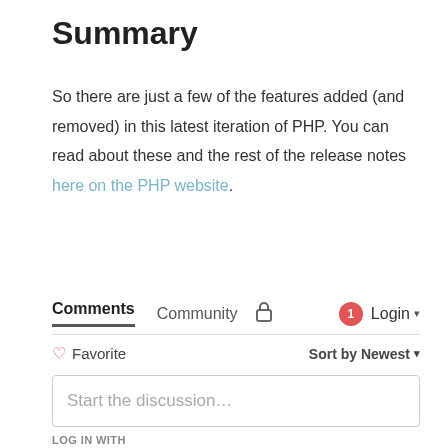Summary
So there are just a few of the features added (and removed) in this latest iteration of PHP. You can read about these and the rest of the release notes here on the PHP website.
Comments  Community  [lock icon]  [1] Login
♡ Favorite  Sort by Newest
Start the discussion...
LOG IN WITH